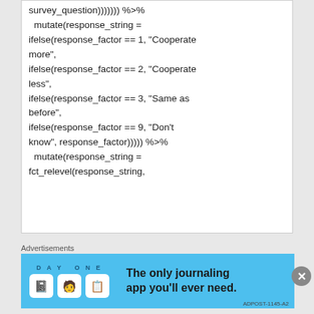survey_question))))))) %>%
  mutate(response_string =
ifelse(response_factor == 1, "Cooperate more",
ifelse(response_factor == 2, "Cooperate less",
ifelse(response_factor == 3, "Same as before",
ifelse(response_factor == 9, "Don't know", response_factor))))) %>%
  mutate(response_string =
fct_relevel(response_string,
Advertisements
[Figure (infographic): Day One journaling app advertisement banner with sky blue background, app icons, and text 'The only journaling app you'll ever need.']